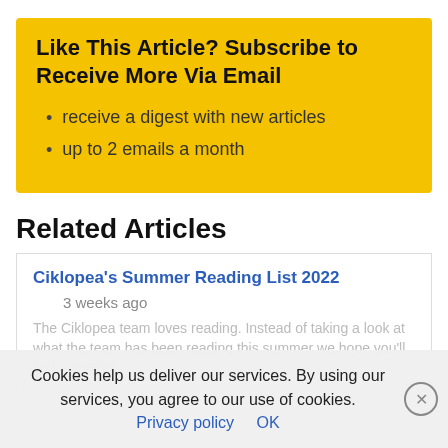Like This Article? Subscribe to Receive More Via Email
receive a digest with new articles
up to 2 emails a month
Related Articles
Ciklopea's Summer Reading List 2022
3 weeks ago
The Ciklopea team loves reading. We hope you'll find something interesting to read too! Instead of taking a look at what the team has been reading this summer we hope you'll find something
Cookies help us deliver our services. By using our services, you agree to our use of cookies. Privacy policy  OK